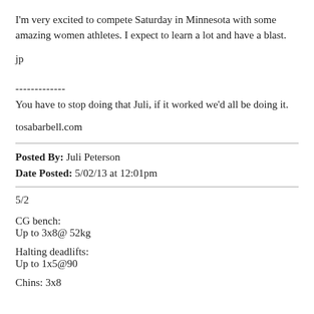I'm very excited to compete Saturday in Minnesota with some amazing women athletes. I expect to learn a lot and have a blast.
jp
-------------
You have to stop doing that Juli, if it worked we'd all be doing it.
tosabarbell.com
Posted By: Juli Peterson
Date Posted: 5/02/13 at 12:01pm
5/2
CG bench:
Up to 3x8@ 52kg
Halting deadlifts:
Up to 1x5@90
Chins: 3x8